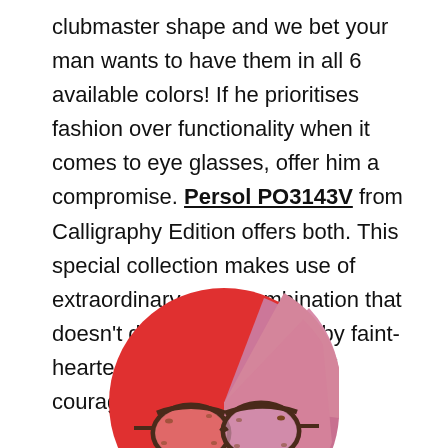clubmaster shape and we bet your man wants to have them in all 6 available colors! If he prioritises fashion over functionality when it comes to eye glasses, offer him a compromise. Persol PO3143V from Calligraphy Edition offers both. This special collection makes use of extraordinary color combination that doesn't deserve to be worn by faint-hearted and needs a pinch of courage.
[Figure (photo): A pair of tortoiseshell clubmaster-style glasses (Persol PO3143V) displayed on a circular background split between red and pink/mauve colors.]